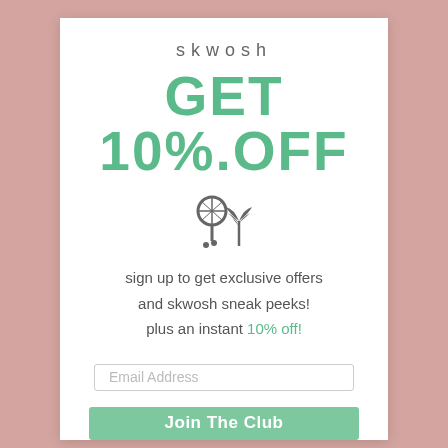skwosh
GET 10% OFF
[Figure (illustration): Tennis racket and palm tree crossed icon in dark grey]
sign up to get exclusive offers and skwosh sneak peeks! plus an instant 10% off!
Email Address
Join The Club